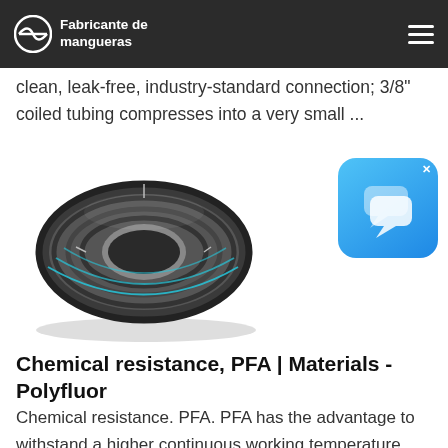Fabricante de mangueras
clean, leak-free, industry-standard connection; 3/8" coiled tubing compresses into a very small ...
[Figure (photo): A coiled dark gray/black industrial hose with teal/blue stripe markings wound into a circular roll, shown on white background.]
[Figure (screenshot): Blue rounded-square chat/messaging app icon with two speech bubble shapes and a small x close button in the upper right corner.]
Chemical resistance, PFA | Materials - Polyfluor
Chemical resistance. PFA. PFA has the advantage to withstand a higher continuous working temperature compared to FEP. Due to melt processability, PFA can be